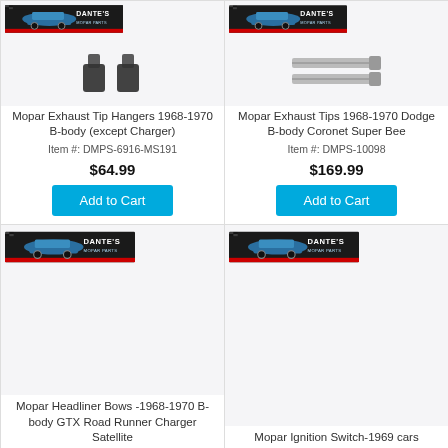[Figure (photo): Mopar Exhaust Tip Hangers product image with Dante's Mopar Parts logo]
Mopar Exhaust Tip Hangers 1968-1970 B-body (except Charger)
Item #: DMPS-6916-MS191
$64.99
Add to Cart
[Figure (photo): Mopar Exhaust Tips product image with Dante's Mopar Parts logo]
Mopar Exhaust Tips 1968-1970 Dodge B-body Coronet Super Bee
Item #: DMPS-10098
$169.99
Add to Cart
[Figure (logo): Dante's Mopar Parts logo - bottom left card]
Mopar Headliner Bows -1968-1970 B-body GTX Road Runner Charger Satellite
[Figure (logo): Dante's Mopar Parts logo - bottom right card]
Mopar Ignition Switch-1969 cars